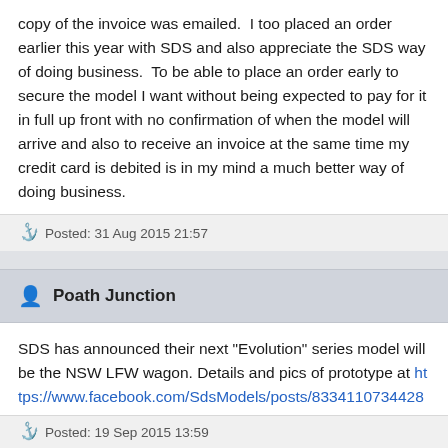copy of the invoice was emailed.  I too placed an order earlier this year with SDS and also appreciate the SDS way of doing business.  To be able to place an order early to secure the model I want without being expected to pay for it in full up front with no confirmation of when the model will arrive and also to receive an invoice at the same time my credit card is debited is in my mind a much better way of doing business.
Posted: 31 Aug 2015 21:57
Poath Junction
SDS has announced their next "Evolution" series model will be the NSW LFW wagon. Details and pics of prototype at https://www.facebook.com/SdsModels/posts/833411073442802
Posted: 19 Sep 2015 13:59